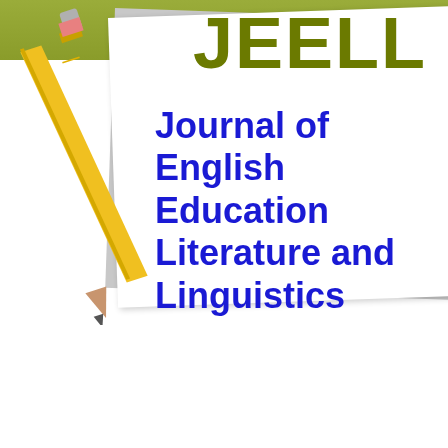[Figure (logo): JEELL journal logo featuring a pencil and notebook illustration with green/olive top bar, gray card behind a white card. The acronym JEELL appears in large olive/dark yellow bold text, with the full name 'Journal of English Education Literature and Linguistics' in large bold blue text below.]